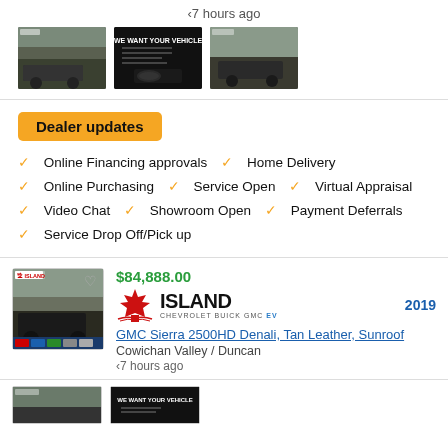‹7 hours ago
[Figure (photo): Three thumbnail images of trucks and a dealer advertisement]
Dealer updates
Online Financing approvals
Home Delivery
Online Purchasing
Service Open
Virtual Appraisal
Video Chat
Showroom Open
Payment Deferrals
Service Drop Off/Pick up
$84,888.00
[Figure (logo): Island Chevrolet Buick GMC EV dealer logo with maple leaf]
2019
GMC Sierra 2500HD Denali, Tan Leather, Sunroof
Cowichan Valley / Duncan
‹7 hours ago